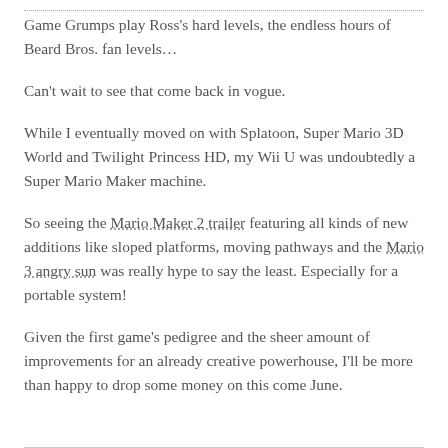Game Grumps play Ross's hard levels, the endless hours of Beard Bros. fan levels…
Can't wait to see that come back in vogue.
While I eventually moved on with Splatoon, Super Mario 3D World and Twilight Princess HD, my Wii U was undoubtedly a Super Mario Maker machine.
So seeing the Mario Maker 2 trailer featuring all kinds of new additions like sloped platforms, moving pathways and the Mario 3 angry sun was really hype to say the least. Especially for a portable system!
Given the first game's pedigree and the sheer amount of improvements for an already creative powerhouse, I'll be more than happy to drop some money on this come June.